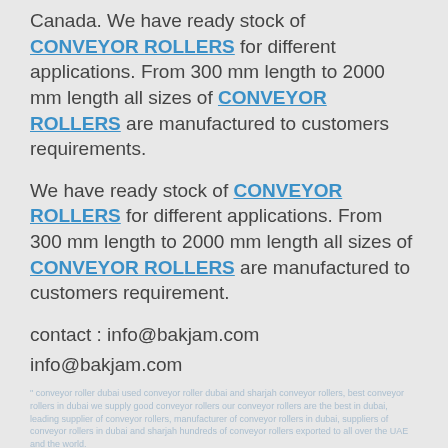Canada. We have ready stock of CONVEYOR ROLLERS for different applications. From 300 mm length to 2000 mm length all sizes of CONVEYOR ROLLERS are manufactured to customers requirements.
We have ready stock of CONVEYOR ROLLERS for different applications. From 300 mm length to 2000 mm length all sizes of CONVEYOR ROLLERS are manufactured to customers requirement.
contact : info@bakjam.com
info@bakjam.com
" conveyor roller dubai used conveyor roller dubai and sharjah conveyor rollers, best conveyor rollers in dubai we supply good conveyor rollers our conveyor rollers are the best in dubai, leading supplier of conveyor rollers, manufacturer of conveyor rollers in dubai, suppliers of conveyor rollers in dubai and sharjah hundreds of conveyor rollers exported to all over the UAE and the world.